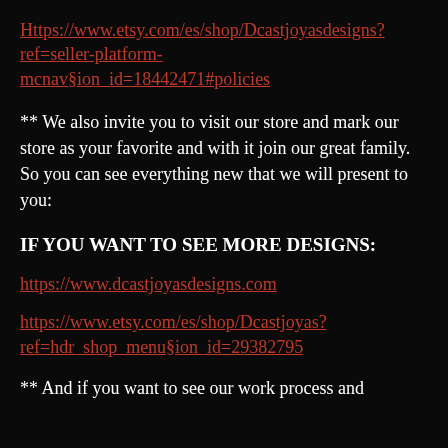Https://www.etsy.com/es/shop/Dcastjoyasdesigns?ref=seller-platform-mcnav§ion_id=18442471#policies
** We also invite you to visit our store and mark our store as your favorite and with it join our great family. So you can see everything new that we will present to you:
IF YOU WANT TO SEE MORE DESIGNS:
https://www.dcastjoyasdesigns.com
https://www.etsy.com/es/shop/Dcastjoyas?ref=hdr_shop_menu§ion_id=29382795
** And if you want to see our work process and